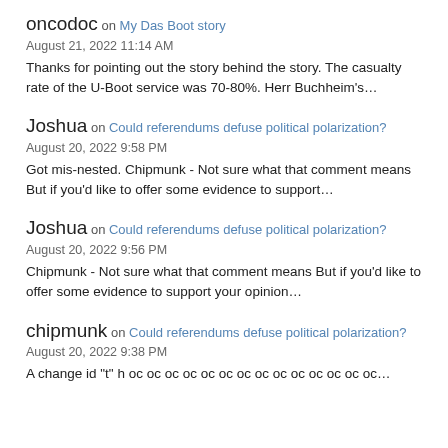oncodoc on My Das Boot story
August 21, 2022 11:14 AM
Thanks for pointing out the story behind the story. The casualty rate of the U-Boot service was 70-80%. Herr Buchheim's…
Joshua on Could referendums defuse political polarization?
August 20, 2022 9:58 PM
Got mis-nested. Chipmunk - Not sure what that comment means But if you'd like to offer some evidence to support…
Joshua on Could referendums defuse political polarization?
August 20, 2022 9:56 PM
Chipmunk - Not sure what that comment means But if you'd like to offer some evidence to support your opinion…
chipmunk on Could referendums defuse political polarization?
August 20, 2022 9:38 PM
A change id "t" h oc oc oc oc oc oc oc oc oc oc oc oc oc oc…